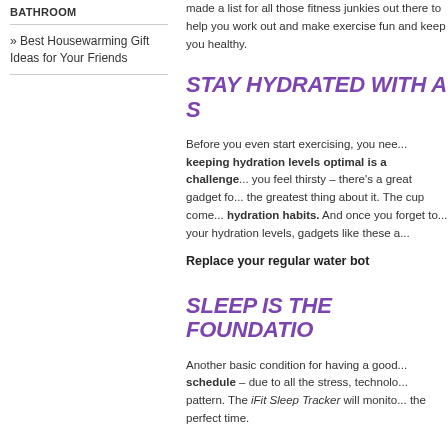BATHROOM
» Best Housewarming Gift Ideas for Your Friends
made a list for all those fitness junkies out there to help you work out and make exercise fun and keep you healthy.
STAY HYDRATED WITH A S
Before you even start exercising, you nee... keeping hydration levels optimal is a challenge... you feel thirsty – there's a great gadget fo... the greatest thing about it. The cup come... hydration habits. And once you forget to... your hydration levels, gadgets like these a...
Replace your regular water bot
SLEEP IS THE FOUNDATIO
Another basic condition for having a good... schedule – due to all the stress, technolo... pattern. The iFit Sleep Tracker will monito... the perfect time.